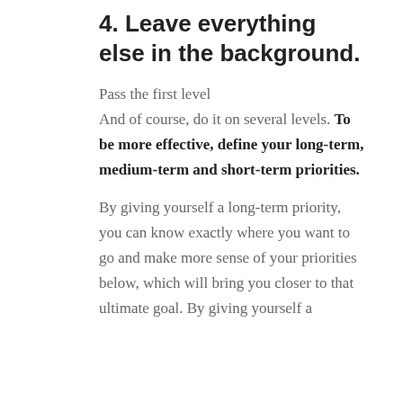4. Leave everything else in the background.
Pass the first level
And of course, do it on several levels. To be more effective, define your long-term, medium-term and short-term priorities.
By giving yourself a long-term priority, you can know exactly where you want to go and make more sense of your priorities below, which will bring you closer to that ultimate goal. By giving yourself a